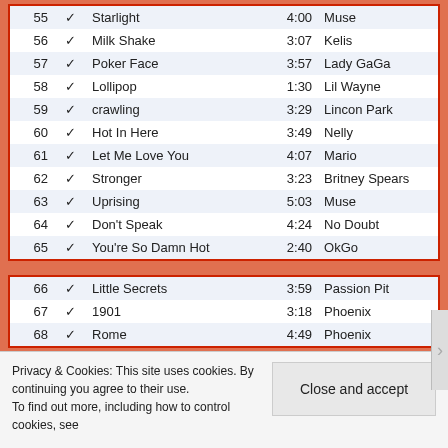| # |  | Title | Time | Artist |
| --- | --- | --- | --- | --- |
| 55 | ✓ | Starlight | 4:00 | Muse |
| 56 | ✓ | Milk Shake | 3:07 | Kelis |
| 57 | ✓ | Poker Face | 3:57 | Lady GaGa |
| 58 | ✓ | Lollipop | 1:30 | Lil Wayne |
| 59 | ✓ | crawling | 3:29 | Lincon Park |
| 60 | ✓ | Hot In Here | 3:49 | Nelly |
| 61 | ✓ | Let Me Love You | 4:07 | Mario |
| 62 | ✓ | Stronger | 3:23 | Britney Spears |
| 63 | ✓ | Uprising | 5:03 | Muse |
| 64 | ✓ | Don't Speak | 4:24 | No Doubt |
| 65 | ✓ | You're So Damn Hot | 2:40 | OkGo |
| # |  | Title | Time | Artist |
| --- | --- | --- | --- | --- |
| 66 | ✓ | Little Secrets | 3:59 | Passion Pit |
| 67 | ✓ | 1901 | 3:18 | Phoenix |
| 68 | ✓ | Rome | 4:49 | Phoenix |
Privacy & Cookies: This site uses cookies. By continuing you agree to their use. To find out more, including how to control cookies, see
Close and accept